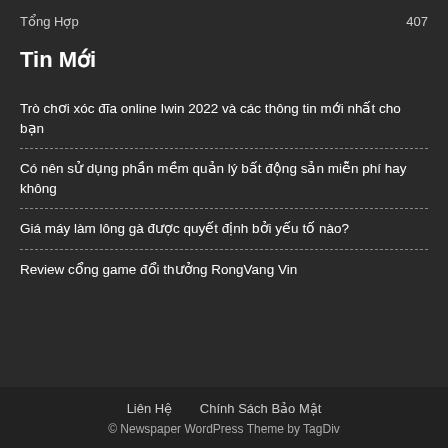Tổng Hợp   407
Tin Mới
Trò chơi xóc đĩa online Iwin 2022 và các thông tin mới nhất cho bạn
Có nên sử dụng phần mềm quản lý bất động sản miễn phí hay không
Giá máy làm lông gà được quyết định bởi yếu tố nào?
Review cổng game đổi thưởng RongVang Vin
Liên Hệ   Chính Sách Bảo Mật
© Newspaper WordPress Theme by TagDiv